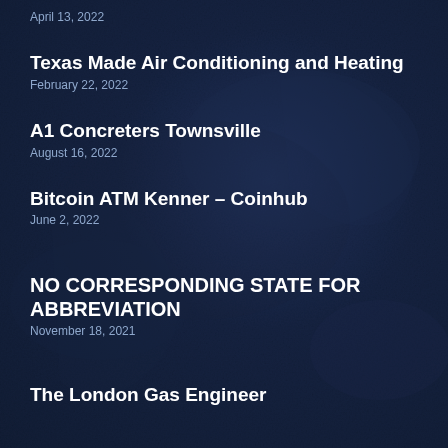April 13, 2022
Texas Made Air Conditioning and Heating
February 22, 2022
A1 Concreters Townsville
August 16, 2022
Bitcoin ATM Kenner – Coinhub
June 2, 2022
NO CORRESPONDING STATE FOR ABBREVIATION
November 18, 2021
The London Gas Engineer